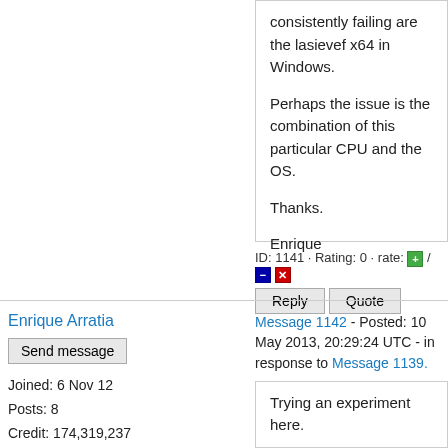consistently failing are the lasievef x64 in Windows.

Perhaps the issue is the combination of this particular CPU and the OS.

Thanks.

Enrique
ID: 1141 · Rating: 0 · rate: [+] / [-] [x]
Reply   Quote
Enrique Arratia
Send message
Joined: 6 Nov 12
Posts: 8
Credit: 174,319,237
RAC: 0
Message 1142 - Posted: 10 May 2013, 20:29:24 UTC - in response to Message 1139.
Trying an experiment here.